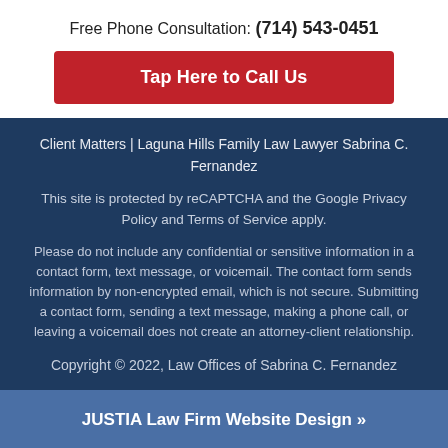Free Phone Consultation: (714) 543-0451
Tap Here to Call Us
Client Matters | Laguna Hills Family Law Lawyer Sabrina C. Fernandez
This site is protected by reCAPTCHA and the Google Privacy Policy and Terms of Service apply.
Please do not include any confidential or sensitive information in a contact form, text message, or voicemail. The contact form sends information by non-encrypted email, which is not secure. Submitting a contact form, sending a text message, making a phone call, or leaving a voicemail does not create an attorney-client relationship.
Copyright © 2022, Law Offices of Sabrina C. Fernandez
JUSTIA Law Firm Website Design »